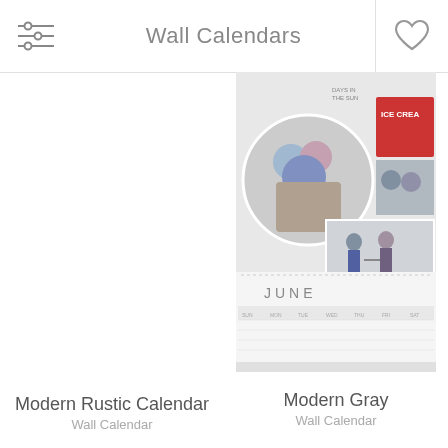Wall Calendars
[Figure (screenshot): Modern Gray wall calendar product thumbnail showing a June calendar page with collage of photos of children and girls holding hands]
Modern Rustic Calendar
Wall Calendar
Modern Gray
Wall Calendar